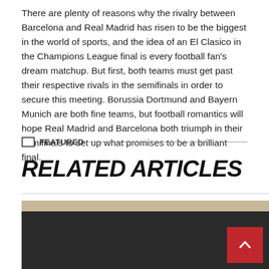There are plenty of reasons why the rivalry between Barcelona and Real Madrid has risen to be the biggest in the world of sports, and the idea of an El Clasico in the Champions League final is every football fan's dream matchup. But first, both teams must get past their respective rivals in the semifinals in order to secure this meeting. Borussia Dortmund and Bayern Munich are both fine teams, but football romantics will hope Real Madrid and Barcelona both triumph in their semifinals to set up what promises to be a brilliant final.
FEATURED
RELATED ARTICLES
[Figure (photo): Article thumbnail image with dark overlay and a back-to-top red button with upward chevron arrow]